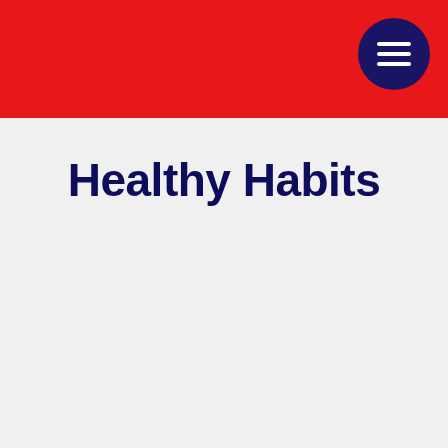Healthy Habits
[Figure (other): Dark navy blue rectangular image block, partially visible, with white strips on left and right sides and a red scroll-to-top button on the right edge]